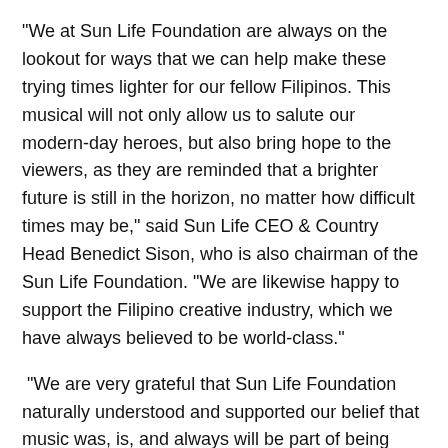“We at Sun Life Foundation are always on the lookout for ways that we can help make these trying times lighter for our fellow Filipinos. This musical will not only allow us to salute our modern-day heroes, but also bring hope to the viewers, as they are reminded that a brighter future is still in the horizon, no matter how difficult times may be,” said Sun Life CEO & Country Head Benedict Sison, who is also chairman of the Sun Life Foundation. “We are likewise happy to support the Filipino creative industry, which we have always believed to be world-class.”
“We are very grateful that Sun Life Foundation naturally understood and supported our belief that music was, is, and always will be part of being Filipino, wherever and whatever our struggles are. ‘M-FLIX 2021: Da Pinoy Pandemic Palabas’ is an original form of online musical that we conceived with an all-Filipino assemblage of talents so we can resound with our